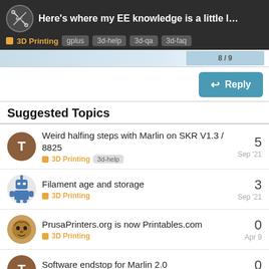Here's where my EE knowledge is a little low: I k... | 3D Printing | gplus | 3d-help | 3d-qa | 3d-faq
Suggested Topics
Weird halfing steps with Marlin on SKR V1.3 / 8825 | 3D Printing | 3d-help | Sep '21 | replies: 5
Filament age and storage | 3D Printing | Sep '21 | replies: 3
PrusaPrinters.org is now Printables.com | 3D Printing | Apr 9 | replies: 0
Software endstop for Marlin 2.0 | 3D Printing | 3d-help | Nov '21 | replies: 0